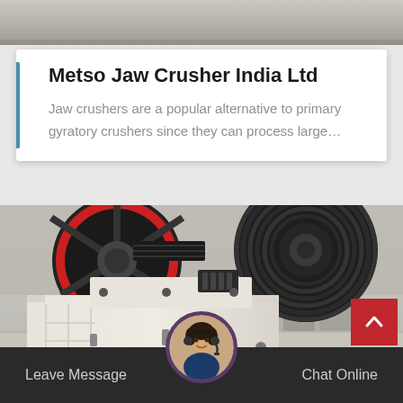[Figure (photo): Top strip showing industrial/stone background]
Metso Jaw Crusher India Ltd
Jaw crushers are a popular alternative to primary gyratory crushers since they can process large…
[Figure (photo): Close-up photo of a jaw crusher machine with large black and red flywheels, white body, in an industrial warehouse setting]
Leave Message
Chat Online